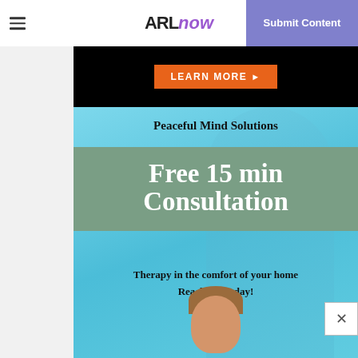ARLnow — Submit Content
[Figure (screenshot): Top portion of black advertisement banner with orange LEARN MORE button]
[Figure (illustration): Peaceful Mind Solutions advertisement: light blue background with therapist photo. Text: 'Peaceful Mind Solutions', 'Free 15 min Consultation', 'Therapy in the comfort of your home', 'Reach out today!']